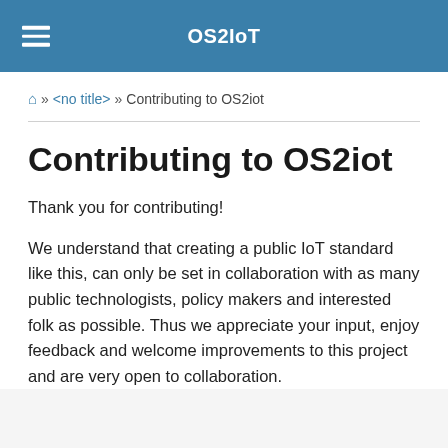OS2IoT
🏠 » <no title> » Contributing to OS2iot
Contributing to OS2iot
Thank you for contributing!
We understand that creating a public IoT standard like this, can only be set in collaboration with as many public technologists, policy makers and interested folk as possible. Thus we appreciate your input, enjoy feedback and welcome improvements to this project and are very open to collaboration.